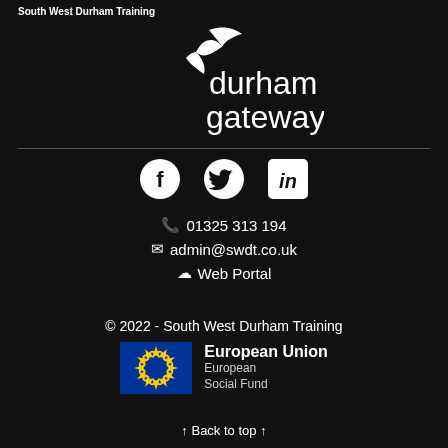South West Durham Training
[Figure (logo): Durham Gateway logo with stylized bird/chevron mark above the text 'durham gateway' in white on black background]
[Figure (infographic): Social media icons: Facebook circle, Twitter bird, LinkedIn square]
📞 01325 313 194
✉ admin@swdt.co.uk
☁ Web Portal
© 2022 - South West Durham Training
[Figure (logo): European Union European Social Fund logo: blue rectangle with circle of yellow stars on left, 'European Union' in bold white text and 'European Social Fund' in lighter text on right]
↑ Back to top ↑